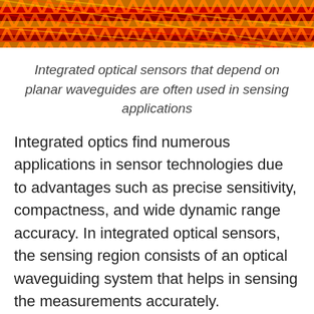[Figure (photo): Colorful woven textile pattern with zigzag designs in red, yellow, orange, and black colors, cropped at the top of the page.]
Integrated optical sensors that depend on planar waveguides are often used in sensing applications
Integrated optics find numerous applications in sensor technologies due to advantages such as precise sensitivity, compactness, and wide dynamic range accuracy. In integrated optical sensors, the sensing region consists of an optical waveguiding system that helps in sensing the measurements accurately.
Integrated optical sensors that depend